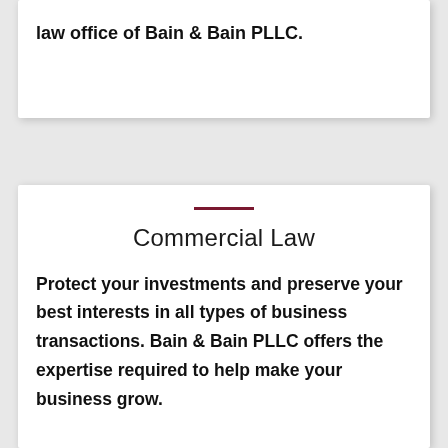law office of Bain & Bain PLLC.
Commercial Law
Protect your investments and preserve your best interests in all types of business transactions. Bain & Bain PLLC offers the expertise required to help make your business grow.